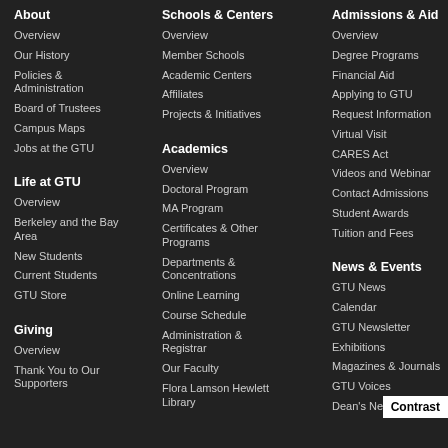About
Overview
Our History
Policies & Administration
Board of Trustees
Campus Maps
Jobs at the GTU
Life at GTU
Overview
Berkeley and the Bay Area
New Students
Current Students
GTU Store
Giving
Overview
Thank You to Our Supporters
Schools & Centers
Overview
Member Schools
Academic Centers
Affiliates
Projects & Initiatives
Academics
Overview
Doctoral Program
MA Program
Certificates & Other Programs
Departments & Concentrations
Online Learning
Course Schedule
Administration & Registrar
Our Faculty
Flora Lamson Hewlett Library
Admissions & Aid
Overview
Degree Programs
Financial Aid
Applying to GTU
Request Information
Virtual Visit
CARES Act
Videos and Webinar
Contact Admissions
Student Awards
Tuition and Fees
News & Events
GTU News
Calendar
GTU Newsletter
Exhibitions
Magazines & Journals
GTU Voices
Dean's Newsletter